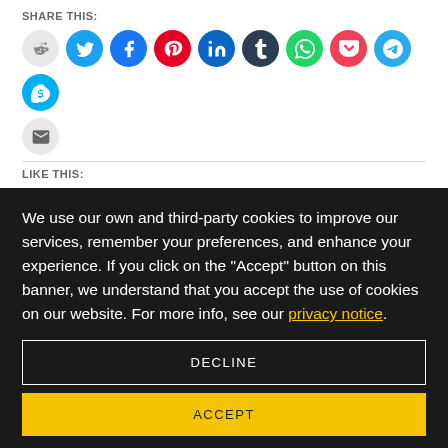SHARE THIS:
[Figure (infographic): Social sharing icons: Reddit, Twitter, Facebook, Pinterest, LinkedIn, Tumblr, WhatsApp, Pocket, Telegram, Skype, Email]
LIKE THIS:
We use our own and third-party cookies to improve our services, remember your preferences, and enhance your experience. If you click on the "Accept" button on this banner, we understand that you accept the use of cookies on our website. For more info, see our privacy notice.
DECLINE
ACCEPT